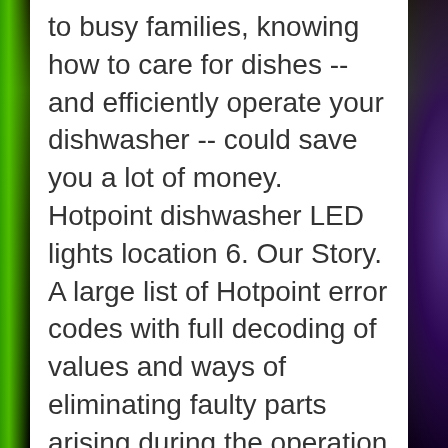to busy families, knowing how to care for dishes -- and efficiently operate your dishwasher -- could save you a lot of money. Hotpoint dishwasher LED lights location 6. Our Story. A large list of Hotpoint error codes with full decoding of values and ways of eliminating faulty parts arising during the operation of the dishwasher. Products. However, have you noticed that there are often little things that go wrong with our devices? Hotpoint Dishwasher DWF70. Hotpoint Washing Machine Wiring Diagram 2000 Ford Taurus Aftermarket Radio Harness Begeboy